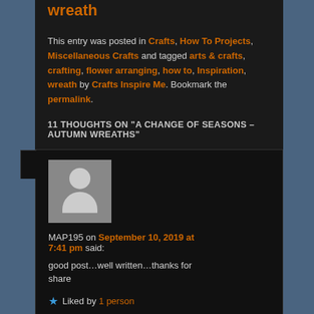wreath
This entry was posted in Crafts, How To Projects, Miscellaneous Crafts and tagged arts & crafts, crafting, flower arranging, how to, Inspiration, wreath by Crafts Inspire Me. Bookmark the permalink.
11 THOUGHTS ON "A CHANGE OF SEASONS – AUTUMN WREATHS"
[Figure (other): User avatar placeholder – grey silhouette of a person]
MAP195 on September 10, 2019 at 7:41 pm said:
good post…well written…thanks for share
★ Liked by 1 person